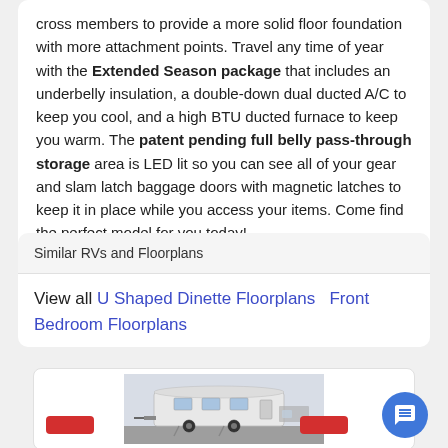cross members to provide a more solid floor foundation with more attachment points. Travel any time of year with the Extended Season package that includes an underbelly insulation, a double-down dual ducted A/C to keep you cool, and a high BTU ducted furnace to keep you warm. The patent pending full belly pass-through storage area is LED lit so you can see all of your gear and slam latch baggage doors with magnetic latches to keep it in place while you access your items. Come find the perfect model for you today!
Similar RVs and Floorplans
View all U Shaped Dinette Floorplans   Front Bedroom Floorplans
[Figure (photo): Photo of a travel trailer RV parked in a lot]